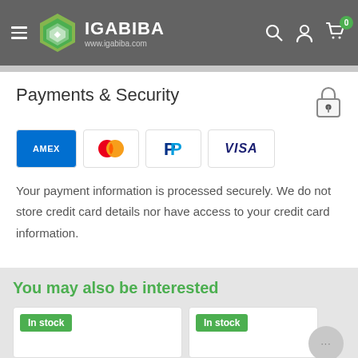IGABIBA www.igabiba.com
Payments & Security
[Figure (logo): Payment method logos: American Express (AMEX), Mastercard, PayPal, Visa]
Your payment information is processed securely. We do not store credit card details nor have access to your credit card information.
You may also be interested
[Figure (other): Two product cards with 'In stock' badges]